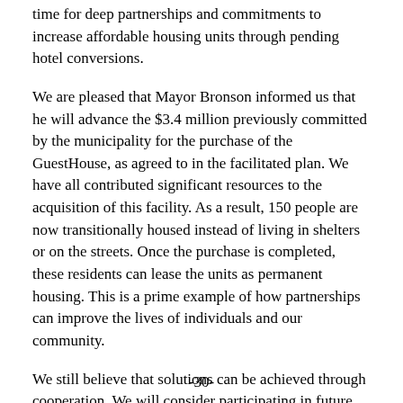time for deep partnerships and commitments to increase affordable housing units through pending hotel conversions.
We are pleased that Mayor Bronson informed us that he will advance the $3.4 million previously committed by the municipality for the purchase of the GuestHouse, as agreed to in the facilitated plan. We have all contributed significant resources to the acquisition of this facility. As a result, 150 people are now transitionally housed instead of living in shelters or on the streets. Once the purchase is completed, these residents can lease the units as permanent housing. This is a prime example of how partnerships can improve the lives of individuals and our community.
We still believe that solutions can be achieved through cooperation. We will consider participating in future efforts designed to create a public-private partnership to address homelessness.
-30-